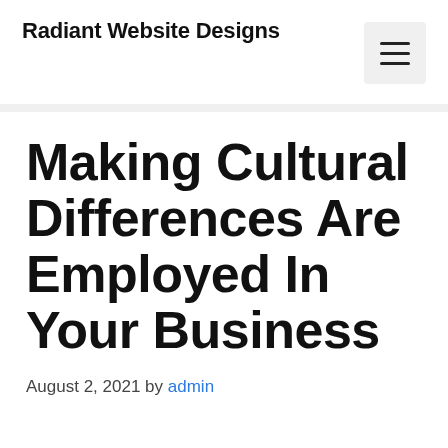Radiant Website Designs
Making Cultural Differences Are Employed In Your Business
August 2, 2021 by admin